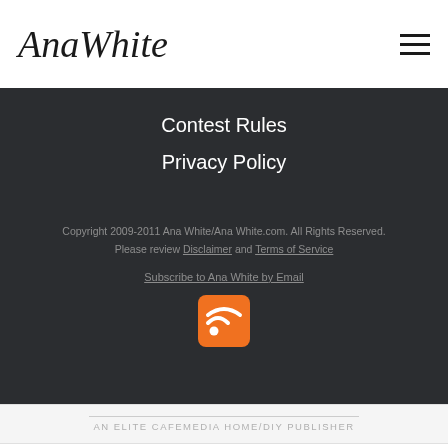AnaWhite [logo] [hamburger menu]
Contest Rules
Privacy Policy
Copyright 2009-2011 Ana White/Ana White.com. All Rights Reserved. Please review Disclaimer and Terms of Service
Subscribe to Ana White by Email
[Figure (logo): RSS feed orange icon with white WiFi/signal symbol]
AN ELITE CAFEMEDIA HOME/DIY PUBLISHER
Fund That Flip
Invest In Real Estate Online  OPEN